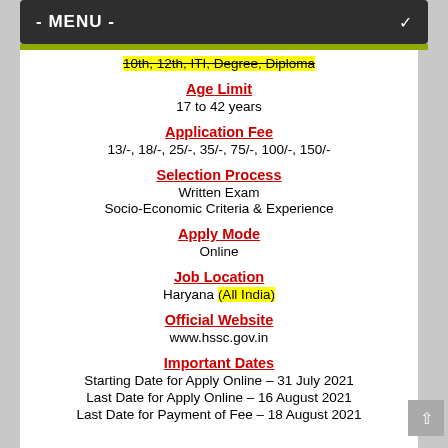- MENU -
10th, 12th, ITI, Degree, Diploma
Age Limit
17 to 42 years
Application Fee
13/-, 18/-, 25/-, 35/-, 75/-, 100/-, 150/-
Selection Process
Written Exam
Socio-Economic Criteria & Experience
Apply Mode
Online
Job Location
Haryana (All India)
Official Website
www.hssc.gov.in
Important Dates
Starting Date for Apply Online – 31 July 2021
Last Date for Apply Online – 16 August 2021
Last Date for Payment of Fee – 18 August 2021